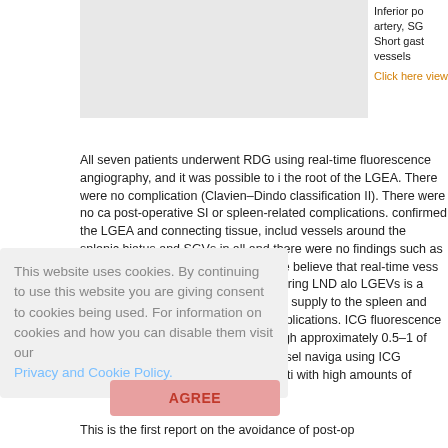Inferior po artery, SG Short gast vessels
Click here view
All seven patients underwent RDG using real-time fluorescence angiography, and it was possible to i the root of the LGEA. There were no complication (Clavien–Dindo classification II). There were no ca post-operative SI or spleen-related complications. confirmed the LGEA and connecting tissue, includ vessels around the splenic hiatus and SGVs in all and there were no findings such as post-operative abscess formation. We believe that real-time vess navigation using ICG fluorescence during LND alo LGEVs is a useful technique that preserves the bl supply to the spleen and reduces post-operative s related complications. ICG fluorescence has been reported to be visible through approximately 0.5–1 of soft tissue.[5] Therefore, real-time vessel naviga using ICG fluorescence is also appropriate in pati with high amounts of visceral fat.
This website uses cookies. By continuing to use this website you are giving consent to cookies being used. For information on cookies and how you can disable them visit our Privacy and Cookie Policy.
AGREE
This is the first report on the avoidance of post-op